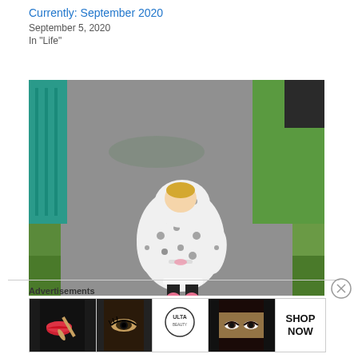Currently: September 2020
September 5, 2020
In "Life"
[Figure (photo): Young toddler wearing a black and white leopard print hoodie robe and pink rain boots, walking on a concrete path with grass and a teal fence on the left.]
Last Harvest, Challah, and Would You Eat This Donut?
October 21, 2020
In "Life"
[Figure (other): Ulta Beauty advertisement banner showing makeup/cosmetics imagery with text SHOP NOW]